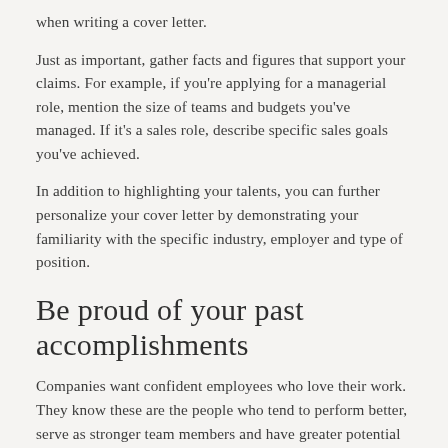when writing a cover letter.
Just as important, gather facts and figures that support your claims. For example, if you're applying for a managerial role, mention the size of teams and budgets you've managed. If it's a sales role, describe specific sales goals you've achieved.
In addition to highlighting your talents, you can further personalize your cover letter by demonstrating your familiarity with the specific industry, employer and type of position.
Be proud of your past accomplishments
Companies want confident employees who love their work. They know these are the people who tend to perform better, serve as stronger team members and have greater potential to grow along with the business.